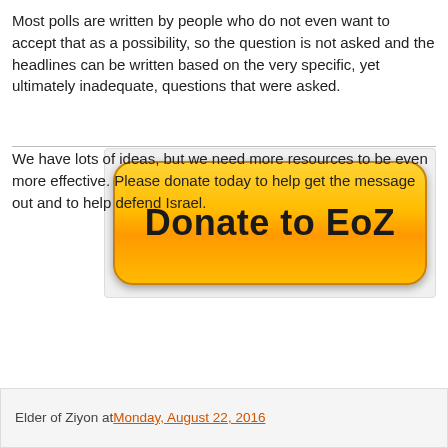Most polls are written by people who do not even want to accept that as a possibility, so the question is not asked and the headlines can be written based on the very specific, yet ultimately inadequate, questions that were asked.
[Figure (illustration): A yellow donate button labeled 'Donate to EoZ' with rounded pill shape and gradient orange-yellow background]
We have lots of ideas, but we need more resources to be even more effective. Please donate today to help get the message out and to help defend Israel.
Elder of Ziyon at Monday, August 22, 2016